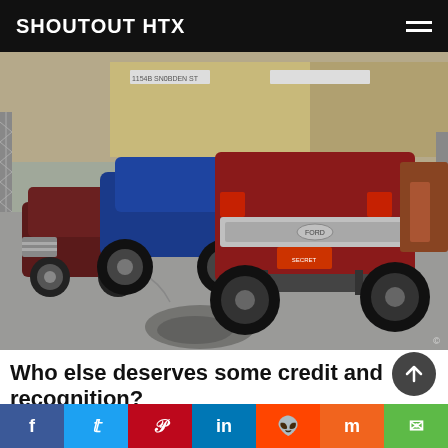SHOUTOUT HTX
[Figure (photo): Parking lot scene with a lifted red Ford pickup truck viewed from behind, a blue lifted truck and a dark Cadillac Escalade to the left, in front of what appears to be an auto shop. Concrete lot with some oil stains.]
Who else deserves some credit and recognition?
The most important person in our success is my wife. She has stood next to me from the very